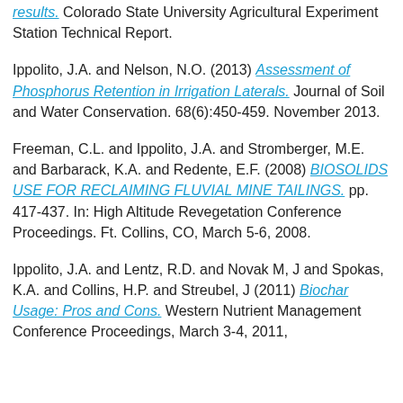results. Colorado State University Agricultural Experiment Station Technical Report.
Ippolito, J.A. and Nelson, N.O. (2013) Assessment of Phosphorus Retention in Irrigation Laterals. Journal of Soil and Water Conservation. 68(6):450-459. November 2013.
Freeman, C.L. and Ippolito, J.A. and Stromberger, M.E. and Barbarack, K.A. and Redente, E.F. (2008) BIOSOLIDS USE FOR RECLAIMING FLUVIAL MINE TAILINGS. pp. 417-437. In: High Altitude Revegetation Conference Proceedings. Ft. Collins, CO, March 5-6, 2008.
Ippolito, J.A. and Lentz, R.D. and Novak M, J and Spokas, K.A. and Collins, H.P. and Streubel, J (2011) Biochar Usage: Pros and Cons. Western Nutrient Management Conference Proceedings, March 3-4, 2011,